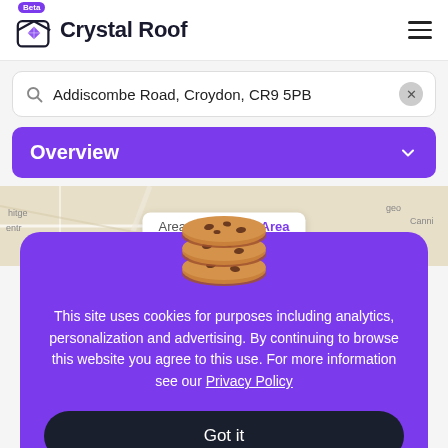[Figure (screenshot): Crystal Roof app header with logo, Beta badge, and hamburger menu]
Addiscombe Road, Croydon, CR9 5PB
Overview
[Figure (screenshot): Map background showing street map area with Immediate Area label bar]
[Figure (infographic): Cookie consent overlay with cookie emoji image, consent text, Privacy Policy link, and Got it button]
This site uses cookies for purposes including analytics, personalization and advertising. By continuing to browse this website you agree to this use. For more information see our Privacy Policy
Got it